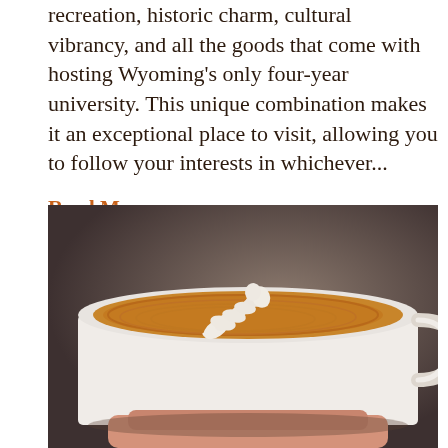recreation, historic charm, cultural vibrancy, and all the goods that come with hosting Wyoming's only four-year university. This unique combination makes it an exceptional place to visit, allowing you to follow your interests in whichever...
Read More →
[Figure (photo): Close-up photograph of a latte art coffee in a white ceramic cup held by a hand with a blurred background]